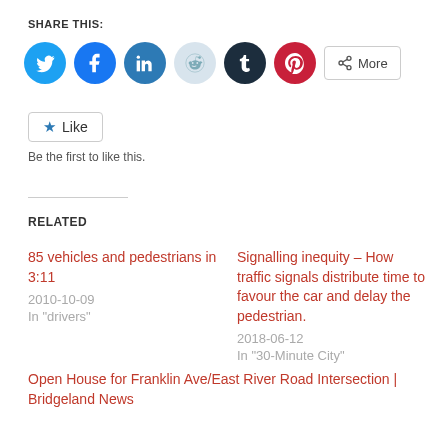SHARE THIS:
[Figure (infographic): Social media sharing buttons: Twitter (blue), Facebook (blue), LinkedIn (teal-blue), Reddit (light blue), Tumblr (dark navy), Pinterest (red), and a More button]
[Figure (infographic): Star Like button with text 'Be the first to like this.']
RELATED
85 vehicles and pedestrians in 3:11
2010-10-09
In "drivers"
Signalling inequity – How traffic signals distribute time to favour the car and delay the pedestrian.
2018-06-12
In "30-Minute City"
Open House for Franklin Ave/East River Road Intersection | Bridgeland News